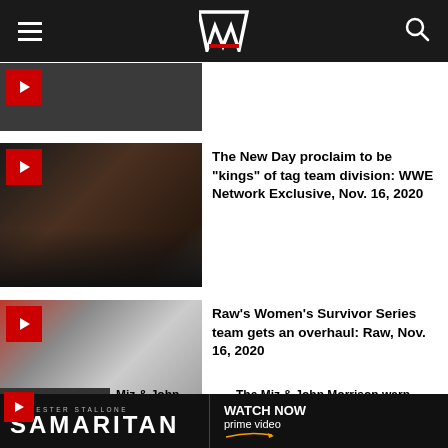WWE
[Figure (photo): Partially visible photo of wrestlers at top of feed]
[Figure (photo): The New Day members holding championship title with microphone]
The New Day proclaim to be "kings" of tag team division: WWE Network Exclusive, Nov. 16, 2020
[Figure (photo): Man in suit at Raw event speaking]
Raw's Women's Survivor Series team gets an overhaul: Raw, Nov. 16, 2020
[Figure (photo): Partial video thumbnail of Miz and John Morrison]
The Miz & John Morrison warn McIntyre and Orton of change: Raw, Nov. 16, 2020
[Figure (infographic): Sylvester Stallone Samaritan - Watch Now on Prime Video advertisement banner]